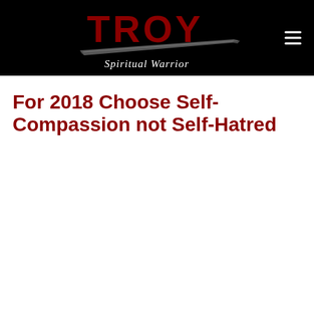[Figure (logo): Troy Spiritual Warrior logo on black background with red stylized TROY lettering, sword graphic, and 'Spiritual Warrior' italic script subtitle. Hamburger menu icon in top right.]
For 2018 Choose Self-Compassion not Self-Hatred